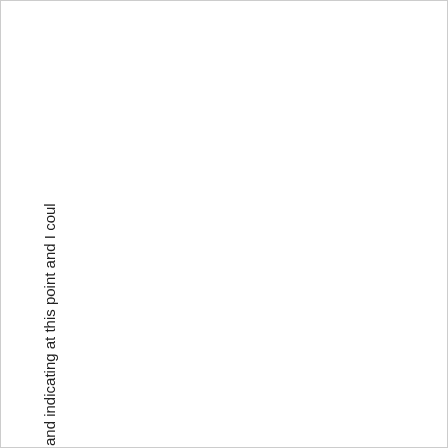and indicating at this point and I coul